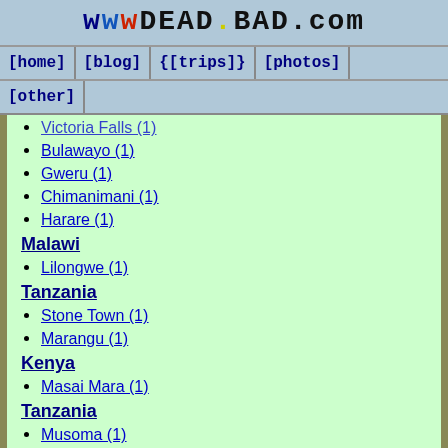wwwDEADBAD.com
[home] [blog] {[trips]} [photos] [other]
Victoria Falls (1)
Bulawayo (1)
Gweru (1)
Chimanimani (1)
Harare (1)
Malawi
Lilongwe (1)
Tanzania
Stone Town (1)
Marangu (1)
Kenya
Masai Mara (1)
Tanzania
Musoma (1)
Rwanda
undefined (1)
Uganda
Kabale (1)